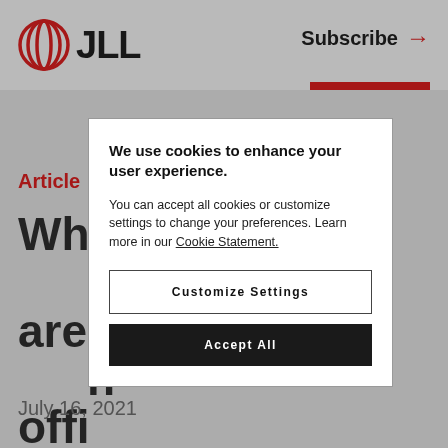[Figure (logo): JLL logo with red concentric oval mark and bold JLL text]
Subscribe →
Article
Whi... s are ... n offi...
Comp... space: ... ts.
July 16, 2021
We use cookies to enhance your user experience.
You can accept all cookies or customize settings to change your preferences. Learn more in our Cookie Statement.
Customize Settings
Accept All